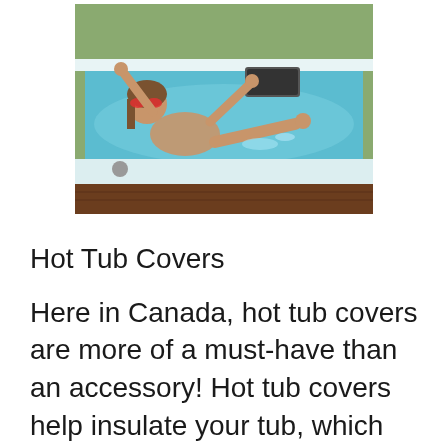[Figure (photo): A woman in a hot tub wearing red sunglasses, relaxing in light blue water, with her arms raised and legs visible. The hot tub is white and set outdoors.]
Hot Tub Covers
Here in Canada, hot tub covers are more of a must-have than an accessory! Hot tub covers help insulate your tub, which allows it to heat up